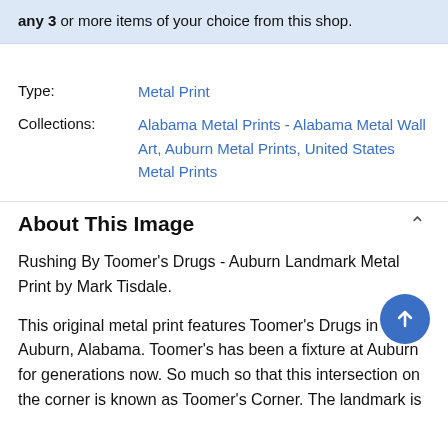any 3 or more items of your choice from this shop.
Type: Metal Print
Collections: Alabama Metal Prints - Alabama Metal Wall Art, Auburn Metal Prints, United States Metal Prints
About This Image
Rushing By Toomer's Drugs - Auburn Landmark Metal Print by Mark Tisdale.
This original metal print features Toomer's Drugs in Auburn, Alabama. Toomer's has been a fixture at Auburn for generations now. So much so that this intersection on the corner is known as Toomer's Corner. The landmark is